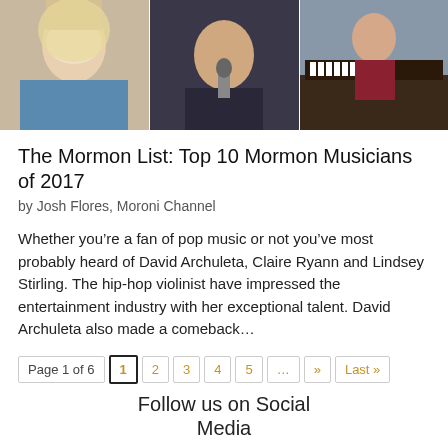[Figure (photo): Collage of three photos: a blonde woman, a male singer with microphone, and a young boy near a piano]
The Mormon List: Top 10 Mormon Musicians of 2017
by Josh Flores, Moroni Channel
Whether you're a fan of pop music or not you've most probably heard of David Archuleta, Claire Ryann and Lindsey Stirling. The hip-hop violinist have impressed the entertainment industry with her exceptional talent. David Archuleta also made a comeback...
Page 1 of 6  1  2  3  4  5  ...  »  Last »
Follow us on Social Media